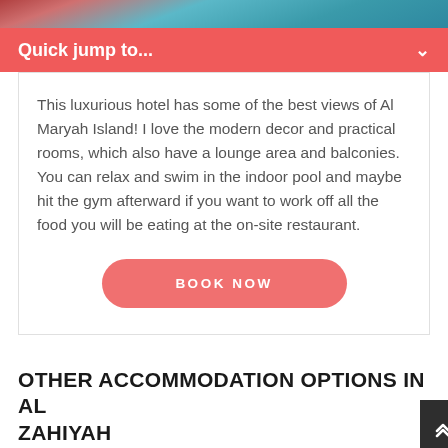[Figure (photo): Top portion of a hotel image showing colorful interior with teal/blue tones]
Quick jump to...
This luxurious hotel has some of the best views of Al Maryah Island! I love the modern decor and practical rooms, which also have a lounge area and balconies. You can relax and swim in the indoor pool and maybe hit the gym afterward if you want to work off all the food you will be eating at the on-site restaurant.
BOOK NOW
OTHER ACCOMMODATION OPTIONS IN AL ZAHIYAH